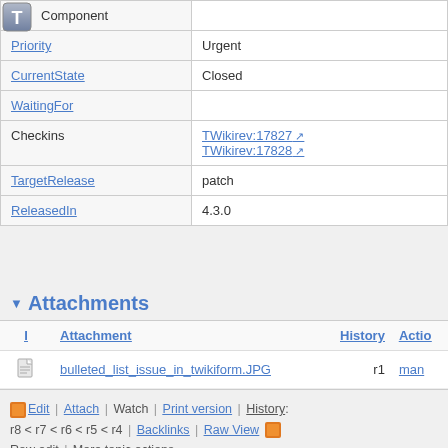| Field | Value |
| --- | --- |
| Component |  |
| Priority | Urgent |
| CurrentState | Closed |
| WaitingFor |  |
| Checkins | TWikirev:17827
TWikirev:17828 |
| TargetRelease | patch |
| ReleasedIn | 4.3.0 |
Attachments
| I | Attachment | History | Actions |
| --- | --- | --- | --- |
| [icon] | bulleted_list_issue_in_twikiform.JPG | r1 | man |
Edit | Attach | Watch | Print version | History: r8 < r7 < r6 < r5 < r4 | Backlinks | Raw View | [icon] Raw edit | More topic actions